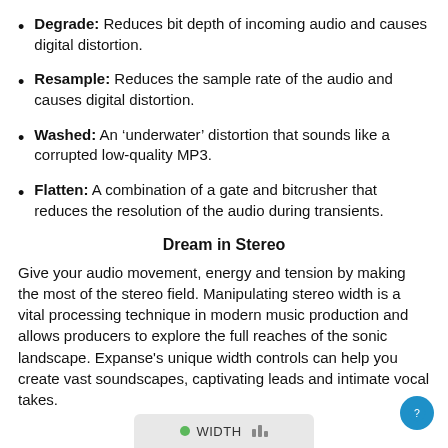Degrade: Reduces bit depth of incoming audio and causes digital distortion.
Resample: Reduces the sample rate of the audio and causes digital distortion.
Washed: An 'underwater' distortion that sounds like a corrupted low-quality MP3.
Flatten: A combination of a gate and bitcrusher that reduces the resolution of the audio during transients.
Dream in Stereo
Give your audio movement, energy and tension by making the most of the stereo field. Manipulating stereo width is a vital processing technique in modern music production and allows producers to explore the full reaches of the sonic landscape. Expanse's unique width controls can help you create vast soundscapes, captivating leads and intimate vocal takes.
[Figure (screenshot): Partial UI element showing a WIDTH control with a green dot indicator and bar graph icon]